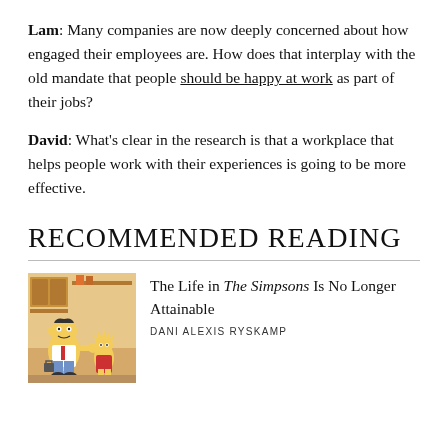Lam: Many companies are now deeply concerned about how engaged their employees are. How does that interplay with the old mandate that people should be happy at work as part of their jobs?
David: What's clear in the research is that a workplace that helps people work with their experiences is going to be more effective.
RECOMMENDED READING
[Figure (illustration): Illustrated image of Homer Simpson and Lisa Simpson in a kitchen scene from The Simpsons]
The Life in The Simpsons Is No Longer Attainable
DANI ALEXIS RYSKAMP